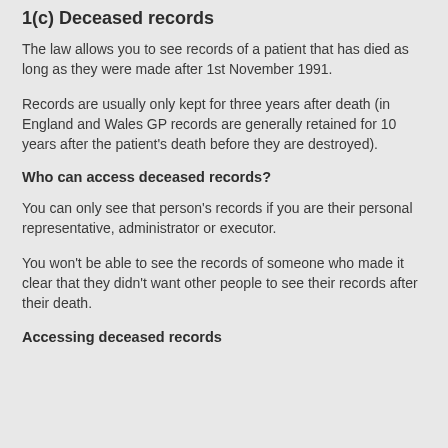1(c) Deceased records
The law allows you to see records of a patient that has died as long as they were made after 1st November 1991.
Records are usually only kept for three years after death (in England and Wales GP records are generally retained for 10 years after the patient's death before they are destroyed).
Who can access deceased records?
You can only see that person's records if you are their personal representative, administrator or executor.
You won't be able to see the records of someone who made it clear that they didn't want other people to see their records after their death.
Accessing deceased records